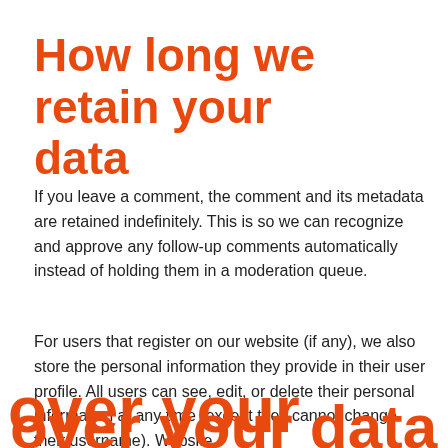How long we retain your data
If you leave a comment, the comment and its metadata are retained indefinitely. This is so we can recognize and approve any follow-up comments automatically instead of holding them in a moderation queue.
For users that register on our website (if any), we also store the personal information they provide in their user profile. All users can see, edit, or delete their personal information at any time (except they cannot change their username). Website
This site uses cookies. Find out more about cookies and how you can refuse them.
I Accept
over your data